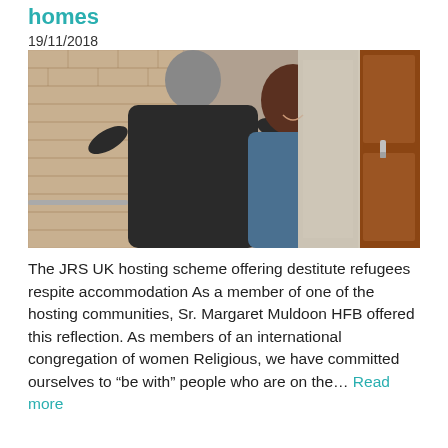homes
19/11/2018
[Figure (photo): Two people hugging warmly at a doorway. One person (back to camera, wearing a dark jacket and grey knit hat) embraces another person (a smiling Black woman in a blue jacket) who is holding open a wooden door. Brick wall visible on the left side.]
The JRS UK hosting scheme offering destitute refugees respite accommodation As a member of one of the hosting communities, Sr. Margaret Muldoon HFB offered this reflection. As members of an international congregation of women Religious, we have committed ourselves to "be with" people who are on the… Read more